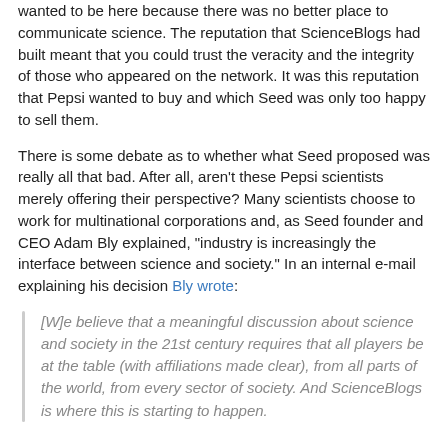wanted to be here because there was no better place to communicate science. The reputation that ScienceBlogs had built meant that you could trust the veracity and the integrity of those who appeared on the network. It was this reputation that Pepsi wanted to buy and which Seed was only too happy to sell them.
There is some debate as to whether what Seed proposed was really all that bad. After all, aren't these Pepsi scientists merely offering their perspective? Many scientists choose to work for multinational corporations and, as Seed founder and CEO Adam Bly explained, "industry is increasingly the interface between science and society." In an internal e-mail explaining his decision Bly wrote:
[W]e believe that a meaningful discussion about science and society in the 21st century requires that all players be at the table (with affiliations made clear), from all parts of the world, from every sector of society. And ScienceBlogs is where this is starting to happen.